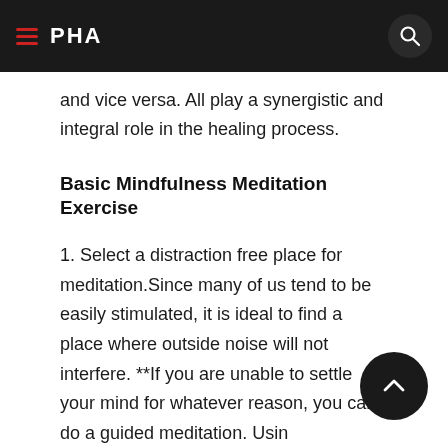PHA
and vice versa. All play a synergistic and integral role in the healing process.
Basic Mindfulness Meditation Exercise
1. Select a distraction free place for meditation.Since many of us tend to be easily stimulated, it is ideal to find a place where outside noise will not interfere. **If you are unable to settle your mind for whatever reason, you can do a guided meditation. Using headphones may prevent your mind from wandering. There are many free guided